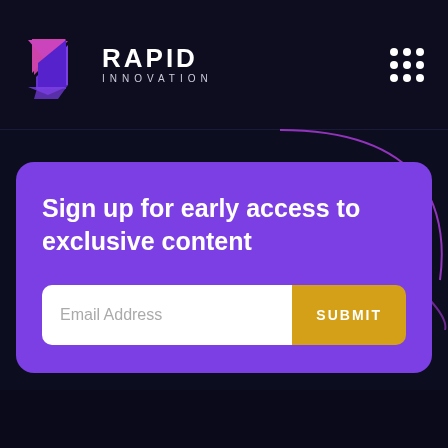[Figure (logo): Rapid Innovation logo with purple origami-style bird icon and text RAPID INNOVATION]
[Figure (other): 3x3 grid of white dots (menu icon) in top right corner]
[Figure (other): Decorative purple curved lines on dark background]
Sign up for early access to exclusive content
Email Address
SUBMIT